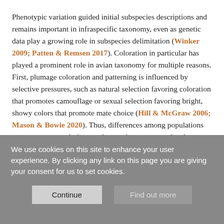Phenotypic variation guided initial subspecies descriptions and remains important in infraspecific taxonomy, even as genetic data play a growing role in subspecies delimitation (Winker 2009; Patten & Remsen 2017). Coloration in particular has played a prominent role in avian taxonomy for multiple reasons. First, plumage coloration and patterning is influenced by selective pressures, such as natural selection favoring coloration that promotes camouflage or sexual selection favoring bright, showy colors that promote mate choice (Hill & McGraw 2006; Mason & Bowie 2020). Thus, differences among populations may represent evolutionary changes in response to local conditions (Zink & Remsen 1986; Zamudio et al. 2016). Second, differences in coloration are readily observable by the
We use cookies on this site to enhance your user experience. By clicking any link on this page you are giving your consent for us to set cookies.